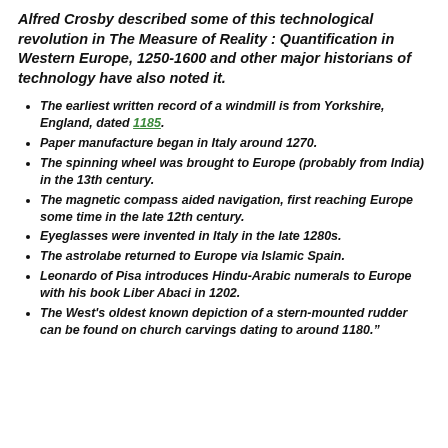Alfred Crosby described some of this technological revolution in The Measure of Reality : Quantification in Western Europe, 1250-1600 and other major historians of technology have also noted it.
The earliest written record of a windmill is from Yorkshire, England, dated 1185.
Paper manufacture began in Italy around 1270.
The spinning wheel was brought to Europe (probably from India) in the 13th century.
The magnetic compass aided navigation, first reaching Europe some time in the late 12th century.
Eyeglasses were invented in Italy in the late 1280s.
The astrolabe returned to Europe via Islamic Spain.
Leonardo of Pisa introduces Hindu-Arabic numerals to Europe with his book Liber Abaci in 1202.
The West's oldest known depiction of a stern-mounted rudder can be found on church carvings dating to around 1180."